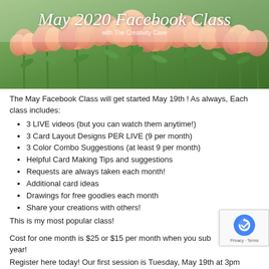[Figure (photo): Banner image with orange/pink tulips and overlaid italic title text 'May 2020 Facebook Class' with subtitle 'with The Creativity Cave']
The May Facebook Class will get started May 19th ! As always, Each class includes:
3 LIVE videos (but you can watch them anytime!)
3 Card Layout Designs PER LIVE (9 per month)
3 Color Combo Suggestions (at least 9 per month)
Helpful Card Making Tips and suggestions
Requests are always taken each month!
Additional card ideas
Drawings for free goodies each month
Share your creations with others!
This is my most popular class!
Cost for one month is $25 or $15 per month when you sub for a year!
Register here today!  Our first session is Tuesday, May 19th at 3pm